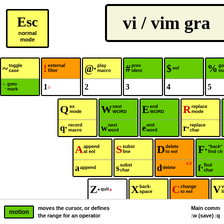vi / vim gra...
[Figure (infographic): vi/vim graphical cheat sheet showing keyboard key mappings with color-coded categories (yellow=normal, green=motion, orange=operator+motion). Keys shown include Esc, Q, W, E, R, T, A, S, D, F, G, Z, X, C, V and various symbols with their vim commands.]
motion - moves the cursor, or defines the range for an operator
Main comm... :w (save) :q...